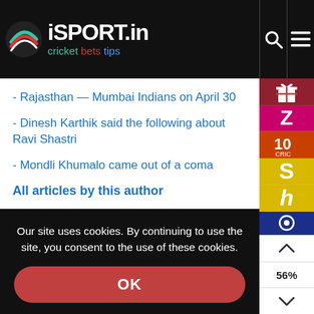iSPORT.in cricket bets tips
- Rajasthan — Mumbai Indians on April 30
- Dinesh Karthik said the following about Ravi Shastri
- Mondli Khumalo came out of a coma
All articles by this author
Comments on Article
Our site uses cookies. By continuing to use the site, you consent to the use of these cookies.
OK